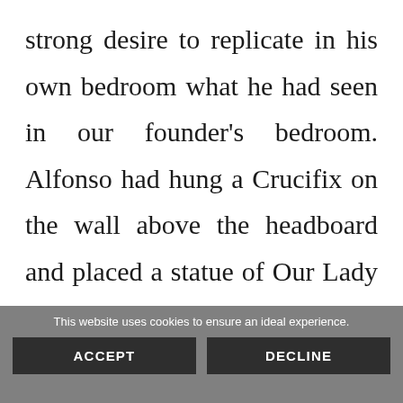strong desire to replicate in his own bedroom what he had seen in our founder's bedroom. Alfonso had hung a Crucifix on the wall above the headboard and placed a statue of Our Lady near the bed similar to what he had seen in Alabama and when
This website uses cookies to ensure an ideal experience.
ACCEPT
DECLINE